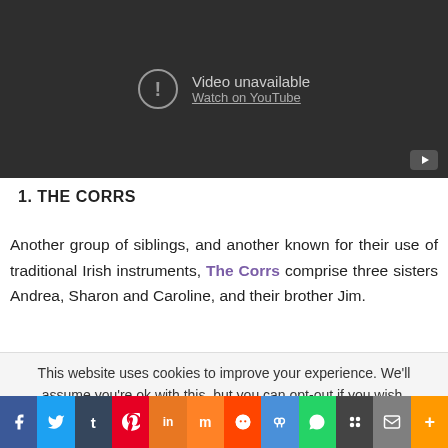[Figure (screenshot): YouTube embedded video player showing 'Video unavailable' message with a circle-exclamation icon and 'Watch on YouTube' link on a dark background, with YouTube logo in bottom right corner.]
1. THE CORRS
Another group of siblings, and another known for their use of traditional Irish instruments, The Corrs comprise three sisters Andrea, Sharon and Caroline, and their brother Jim.
This website uses cookies to improve your experience. We'll assume you're ok with this, but you can opt-out if you wish.
[Figure (infographic): Social media share button bar with icons for Facebook, Twitter, Tumblr, Pinterest, LinkedIn, Mix, Reddit, Parler, WhatsApp, Minds, Email, and More.]